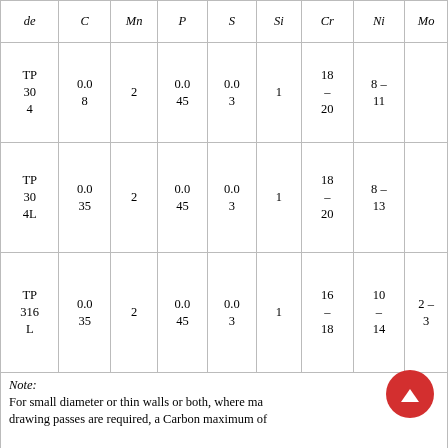| de | C | Mn | P | S | Si | Cr | Ni | Mo |
| --- | --- | --- | --- | --- | --- | --- | --- | --- |
| TP 304 | 0.08 | 2 | 0.045 | 0.03 | 1 | 18 – 20 | 8 – 11 |  |
| TP 304L | 0.035 | 2 | 0.045 | 0.03 | 1 | 18 – 20 | 8 – 13 |  |
| TP 316L | 0.035 | 2 | 0.045 | 0.03 | 1 | 16 – 18 | 10 – 14 | 2 – 3 |
Note: For small diameter or thin walls or both, where many drawing passes are required, a Carbon maximum of 0.040% is common, also see TP304N and TP316L. Small...